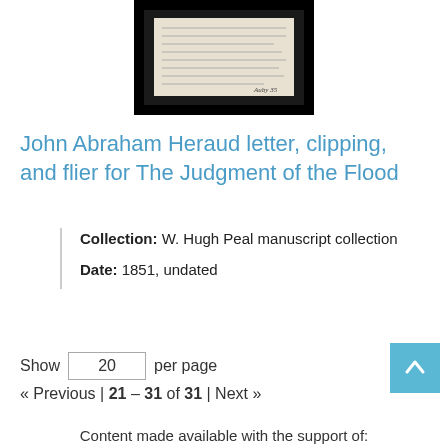[Figure (photo): A scanned document image with handwritten text on a black background, showing partial text about a letter or flier.]
John Abraham Heraud letter, clipping, and flier for The Judgment of the Flood
Collection: W. Hugh Peal manuscript collection
Date: 1851, undated
Show 20 per page
« Previous | 21 – 31 of 31 | Next »
Content made available with the support of: